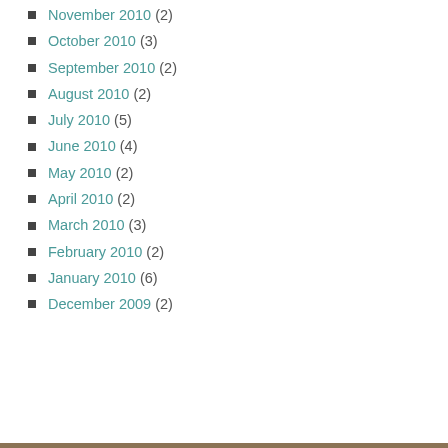November 2010 (2)
October 2010 (3)
September 2010 (2)
August 2010 (2)
July 2010 (5)
June 2010 (4)
May 2010 (2)
April 2010 (2)
March 2010 (3)
February 2010 (2)
January 2010 (6)
December 2009 (2)